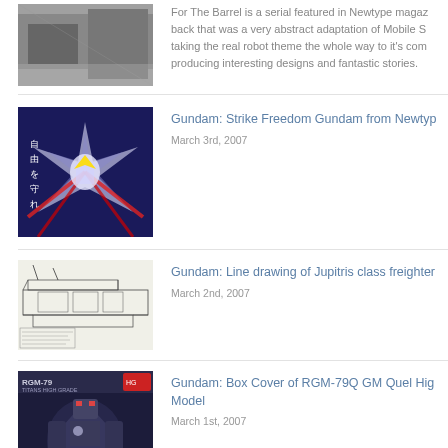For The Barrel is a serial featured in Newtype magazine back that was a very abstract adaptation of Mobile S taking the real robot theme the whole way to it's com producing interesting designs and fantastic stories.
[Figure (photo): Gundam figures/models image at top]
Gundam: Strike Freedom Gundam from Newtype
March 3rd, 2007
[Figure (photo): Strike Freedom Gundam image with Japanese text]
Gundam: Line drawing of Jupitris class freighter
March 2nd, 2007
[Figure (illustration): Line drawing of Jupitris class freighter spacecraft]
Gundam: Box Cover of RGM-79Q GM Quel High Grade Model
March 1st, 2007
[Figure (photo): RGM-79Q GM Quel box cover model]